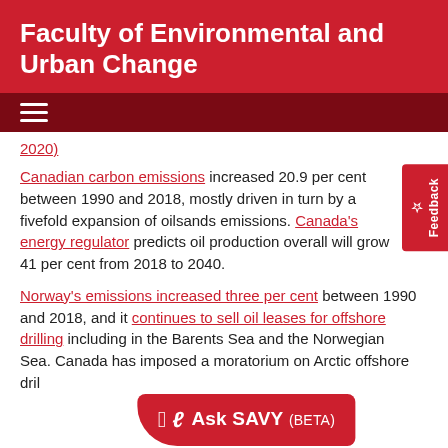Faculty of Environmental and Urban Change
2020)
Canadian carbon emissions increased 20.9 per cent between 1990 and 2018, mostly driven in turn by a fivefold expansion of oilsands emissions. Canada's energy regulator predicts oil production overall will grow 41 per cent from 2018 to 2040.
Norway's emissions increased three per cent between 1990 and 2018, and it continues to sell oil leases for offshore drilling including in the Barents Sea and the Norwegian Sea. Canada has imposed a moratorium on Arctic offshore dril...
Divergent paths